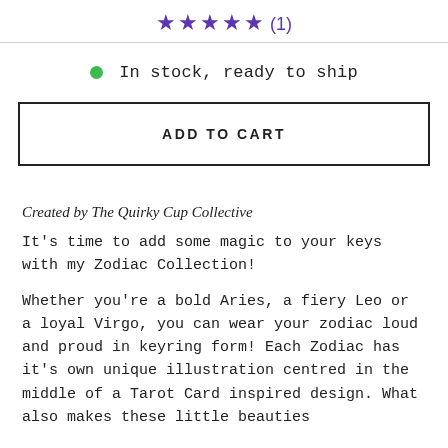★★★★★ (1)
In stock, ready to ship
ADD TO CART
Created by The Quirky Cup Collective
It's time to add some magic to your keys with my Zodiac Collection!
Whether you're a bold Aries, a fiery Leo or a loyal Virgo, you can wear your zodiac loud and proud in keyring form! Each Zodiac has it's own unique illustration centred in the middle of a Tarot Card inspired design. What also makes these little beauties